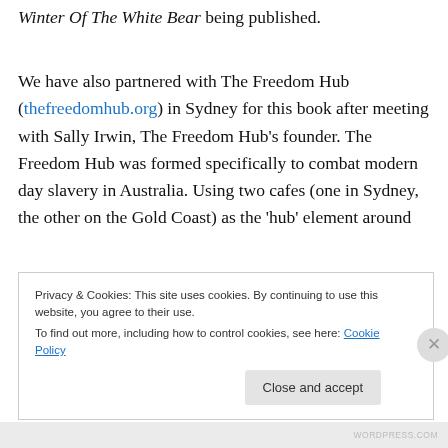Winter Of The White Bear being published.
We have also partnered with The Freedom Hub (thefreedomhub.org) in Sydney for this book after meeting with Sally Irwin, The Freedom Hub's founder. The Freedom Hub was formed specifically to combat modern day slavery in Australia. Using two cafes (one in Sydney, the other on the Gold Coast) as the 'hub' element around
Privacy & Cookies: This site uses cookies. By continuing to use this website, you agree to their use.
To find out more, including how to control cookies, see here: Cookie Policy
WORDPRESS.COM